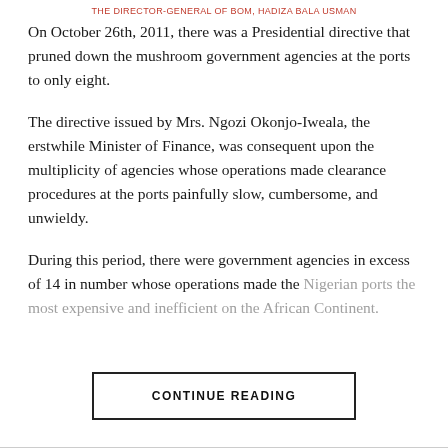THE DIRECTOR-GENERAL OF BOM, HADIZA BALA USMAN
On October 26th, 2011, there was a Presidential directive that pruned down the mushroom government agencies at the ports to only eight.
The directive issued by Mrs. Ngozi Okonjo-Iweala, the erstwhile Minister of Finance, was consequent upon the multiplicity of agencies whose operations made clearance procedures at the ports painfully slow, cumbersome, and unwieldy.
During this period, there were government agencies in excess of 14 in number whose operations made the Nigerian ports the most expensive and inefficient on the African Continent.
CONTINUE READING